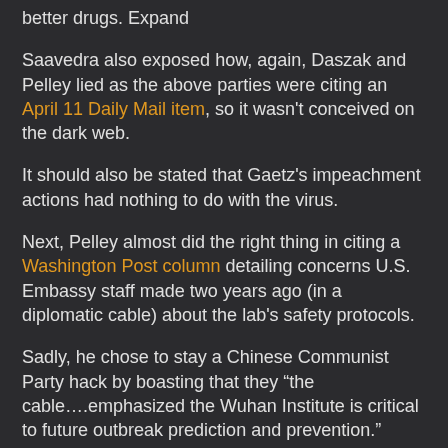better drugs. Expand
Saavedra also exposed how, again, Daszak and Pelley lied as the above parties were citing an April 11 Daily Mail item, so it wasn't conceived on the dark web.
It should also be stated that Gaetz's impeachment actions had nothing to do with the virus.
Next, Pelley almost did the right thing in citing a Washington Post column detailing concerns U.S. Embassy staff made two years ago (in a diplomatic cable) about the lab's safety protocols.
Sadly, he chose to stay a Chinese Communist Party hack by boasting that they “the cable….emphasized the Wuhan Institute is critical to future outbreak prediction and prevention.”